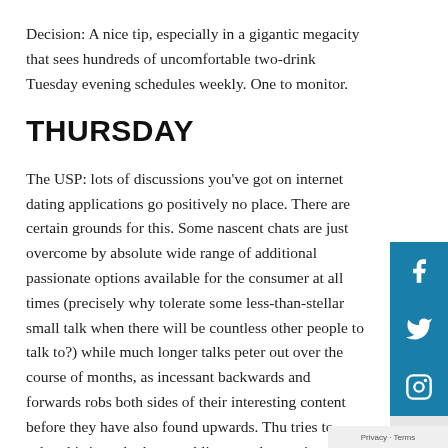Decision: A nice tip, especially in a gigantic megacity that sees hundreds of uncomfortable two-drink Tuesday evening schedules weekly. One to monitor.
THURSDAY
The USP: lots of discussions you've got on internet dating applications go positively no place. There are certain grounds for this. Some nascent chats are just overcome by absolute wide range of additional passionate options available for the consumer at all times (precisely why tolerate some less-than-stellar small talk when there will be countless other people to talk to?) while much longer talks peter out over the course of months, as incessant backwards and forwards robs both sides of their interesting content before they have also found upwards. Thursday tries to solve this issue by best enabling people to suit